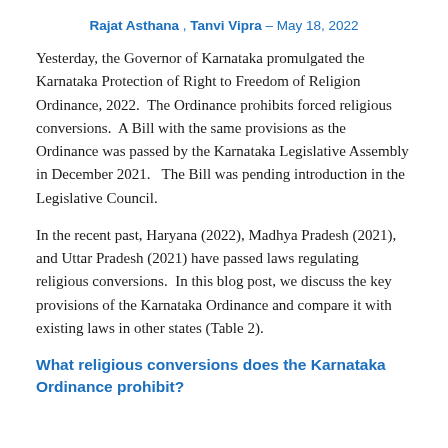Rajat Asthana , Tanvi Vipra – May 18, 2022
Yesterday, the Governor of Karnataka promulgated the Karnataka Protection of Right to Freedom of Religion Ordinance, 2022.  The Ordinance prohibits forced religious conversions.  A Bill with the same provisions as the Ordinance was passed by the Karnataka Legislative Assembly in December 2021.   The Bill was pending introduction in the Legislative Council.
In the recent past, Haryana (2022), Madhya Pradesh (2021), and Uttar Pradesh (2021) have passed laws regulating religious conversions.  In this blog post, we discuss the key provisions of the Karnataka Ordinance and compare it with existing laws in other states (Table 2).
What religious conversions does the Karnataka Ordinance prohibit?